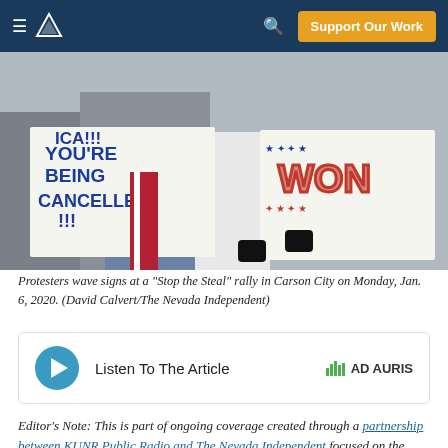Support Our Work
[Figure (photo): Protesters waving signs at a Stop the Steal rally, with signs reading 'You're Being Cancelled!!!' and 'WON'. People wearing winter clothing including white coat with red scarf. American flag visible in background.]
Protesters wave signs at a "Stop the Steal" rally in Carson City on Monday, Jan. 6, 2020. (David Calvert/The Nevada Independent)
Listen To The Article  AD AURIS
Editor's Note: This is part of ongoing coverage created through a partnership between KUNR Public Radio and The Nevada Independent focused on the influence of the baseless claim that the 2020 presidential election was rigged...